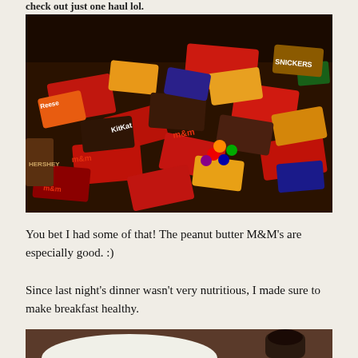check out just one haul lol.
[Figure (photo): Large pile of Halloween candy including M&Ms, KitKat, Reese's, Snickers, and other assorted candy bar wrappers spread out on a dark surface.]
You bet I had some of that! The peanut butter M&M's are especially good. :)
Since last night's dinner wasn't very nutritious, I made sure to make breakfast healthy.
[Figure (photo): Partial view of a breakfast plate and drink, bottom of image.]